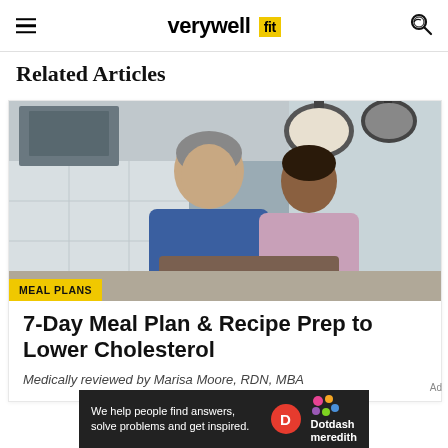verywell fit
Related Articles
[Figure (photo): Two men looking down at something in a modern kitchen with pendant lights overhead. One is wearing a blue t-shirt, the other a light pink shirt. Kitchen has white tile backsplash and dark pendant lamps.]
MEAL PLANS
7-Day Meal Plan & Recipe Prep to Lower Cholesterol
Medically reviewed by Marisa Moore, RDN, MBA
We help people find answers, solve problems and get inspired.
[Figure (logo): Dotdash Meredith logo with D circle icon and colorful dots]